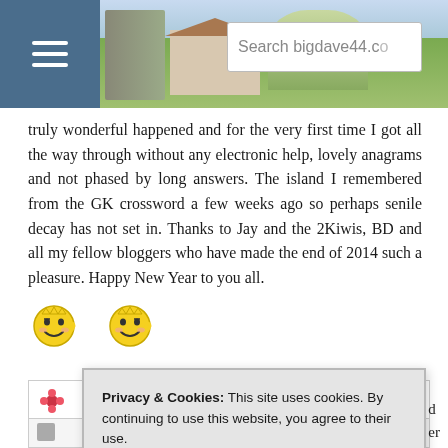Search bigdave44.c[o]
truly wonderful happened and for the very first time I got all the way through without any electronic help, lovely anagrams and not phased by long answers. The island I remembered from the GK crossword a few weeks ago so perhaps senile decay has not set in. Thanks to Jay and the 2Kiwis, BD and all my fellow bloggers who have made the end of 2014 such a pleasure. Happy New Year to you all.
[Figure (illustration): Two yellow smiley face emoji icons side by side]
Privacy & Cookies: This site uses cookies. By continuing to use this website, you agree to their use. To find out more, including how to control cookies, see here: Cookie Policy
Close and accept